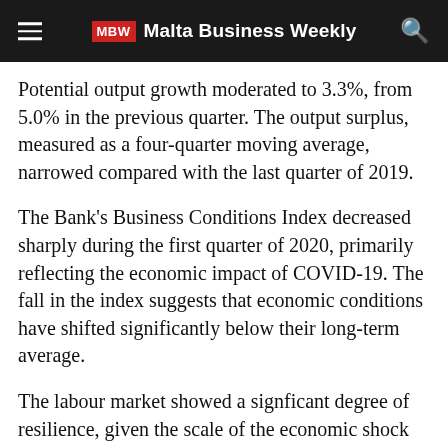MBW Malta Business Weekly
Potential output growth moderated to 3.3%, from 5.0% in the previous quarter. The output surplus, measured as a four-quarter moving average, narrowed compared with the last quarter of 2019.
The Bank's Business Conditions Index decreased sharply during the first quarter of 2020, primarily reflecting the economic impact of COVID-19. The fall in the index suggests that economic conditions have shifted significantly below their long-term average.
The labour market showed a signficant degree of resilience, given the scale of the economic shock caused by the pandemic, though this partly also